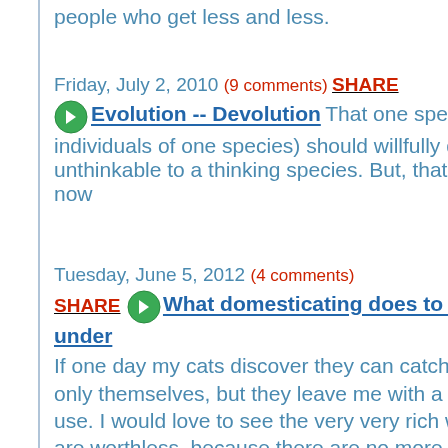people who get less and less.
Friday, July 2, 2010 (9 comments) SHARE
Evolution -- Devolution That one species (and actually a few individuals of one species) should willfully destroy a planet should be unthinkable to a thinking species. But, that is what is happening here and now
Tuesday, June 5, 2012 (4 comments)
SHARE What domesticating does to us and how to get our from under If one day my cats discover they can catch their own food, they free not only themselves, but they leave me with a bag of catfood that I cannot use. I would love to see the very very rich with trillions in their banks that are worthless, because there are no more consumers; we don't need their money any more.